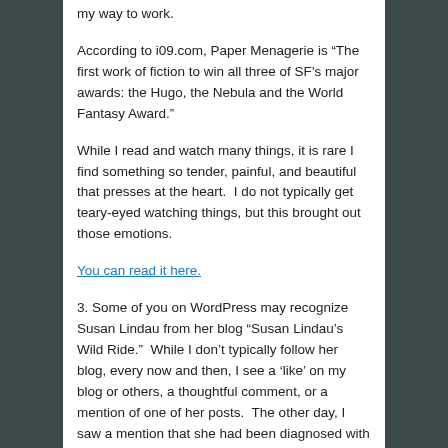my way to work.
According to i09.com, Paper Menagerie is “The first work of fiction to win all three of SF’s major awards: the Hugo, the Nebula and the World Fantasy Award.”
While I read and watch many things, it is rare I find something so tender, painful, and beautiful that presses at the heart.  I do not typically get teary-eyed watching things, but this brought out those emotions.
You can read it here.
3. Some of you on WordPress may recognize Susan Lindau from her blog “Susan Lindau’s Wild Ride.”  While I don’t typically follow her blog, every now and then, I see a ‘like’ on my blog or others, a thoughtful comment, or a mention of one of her posts.  The other day, I saw a mention that she had been diagnosed with breast cancer and had decided to go forward with a double masectomy.